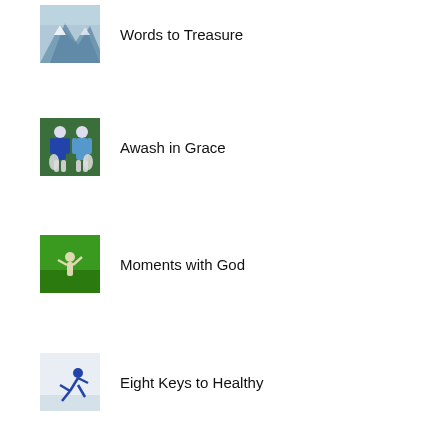Words to Treasure
Awash in Grace
Moments with God
Eight Keys to Healthy